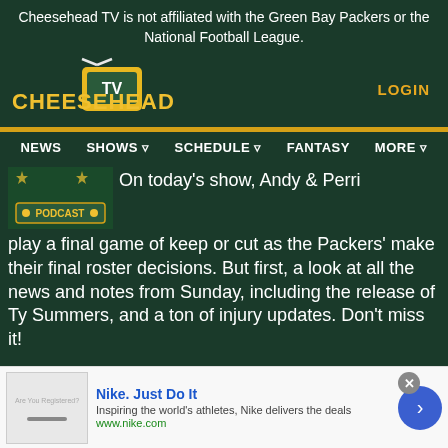Cheesehead TV is not affiliated with the Green Bay Packers or the National Football League.
[Figure (logo): Cheesehead TV logo with stylized yellow text and TV icon]
LOGIN
[Figure (other): Navigation bar with NEWS, SHOWS, SCHEDULE, FANTASY, MORE]
[Figure (photo): Podcast thumbnail image with stars and PODCAST label]
On today's show, Andy & Perri play a final game of keep or cut as the Packers' make their final roster decisions. But first, a look at all the news and notes from Sunday, including the release of Ty Summers, and a ton of injury updates. Don't miss it!
[Figure (other): Nike advertisement: Nike. Just Do It. Inspiring the world's athletes, Nike delivers the deals. www.nike.com]